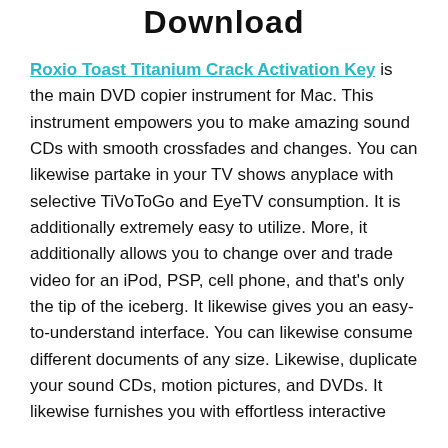Download
Roxio Toast Titanium Crack Activation Key is the main DVD copier instrument for Mac. This instrument empowers you to make amazing sound CDs with smooth crossfades and changes. You can likewise partake in your TV shows anyplace with selective TiVoToGo and EyeTV consumption. It is additionally extremely easy to utilize. More, it additionally allows you to change over and trade video for an iPod, PSP, cell phone, and that’s only the tip of the iceberg. It likewise gives you an easy-to-understand interface. You can likewise consume different documents of any size. Likewise, duplicate your sound CDs, motion pictures, and DVDs. It likewise furnishes you with effortless interactive